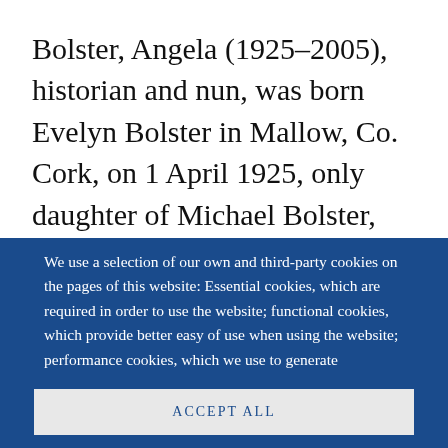Bolster, Angela (1925–2005), historian and nun, was born Evelyn Bolster in Mallow, Co. Cork, on 1 April 1925, only daughter of Michael Bolster,
We use a selection of our own and third-party cookies on the pages of this website: Essential cookies, which are required in order to use the website; functional cookies, which provide better easy of use when using the website; performance cookies, which we use to generate aggregated data on website use and statistics; and marketing cookies, which are used to display relevant content and advertising. If you choose "ACCEPT ALL", you consent to the use of all cookies. You can accept and
ACCEPT ALL